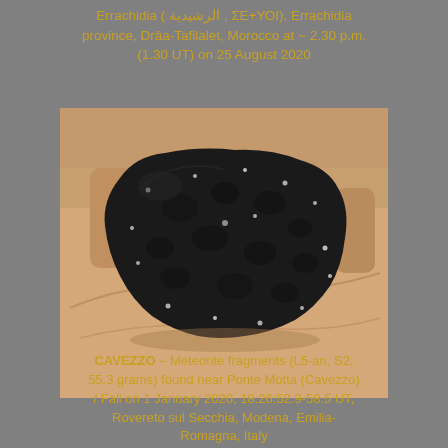Errachidia ( الرشيدية , ΣΕ+ΥΟΙ), Errachidia province, Drâa-Tafilalet, Morocco at ~ 2.30 p.m. (1.30 UT) on 25 August 2020
[Figure (photo): A dark black fusion-crusted meteorite fragment held in a human hand, showing regmaglypts (thumb-print like indentations) typical of meteorites, photographed against a background of an open palm.]
CAVEZZO – Meteorite fragments (L5-an, S2, 55.3 grams) found near Ponte Motta (Cavezzo) / Fall on 1 January 2020, 18:26:52.9-58.5 UT, Rovereto sul Secchia, Modena, Emilia-Romagna, Italy